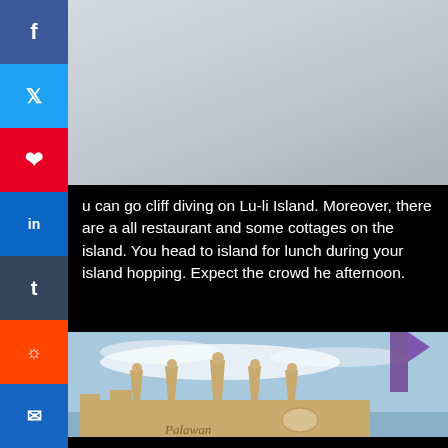[Figure (photo): Top portion of page showing a light grey/white sky photo]
u can go cliff diving on Lu-li Island. Moreover, there are a all restaurant and some cottages on the island. You head to island for lunch during your island hopping. Expect the crowd he afternoon.
[Figure (photo): A sand castle with crown-like spires reading 'Palawan' against a blue cloudy sky with a purple flag visible on the right]